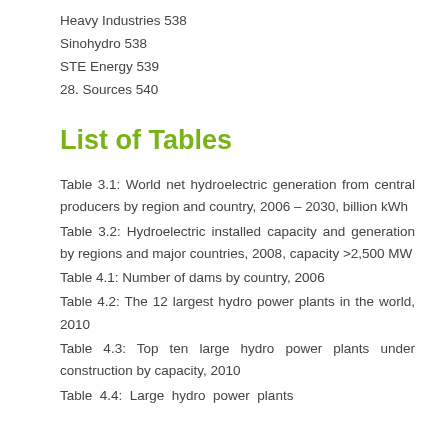Heavy Industries 538
Sinohydro 538
STE Energy 539
28. Sources 540
List of Tables
Table 3.1: World net hydroelectric generation from central producers by region and country, 2006 – 2030, billion kWh
Table 3.2: Hydroelectric installed capacity and generation by regions and major countries, 2008, capacity >2,500 MW
Table 4.1: Number of dams by country, 2006
Table 4.2: The 12 largest hydro power plants in the world, 2010
Table 4.3: Top ten large hydro power plants under construction by capacity, 2010
Table 4.4: Large hydro power plants